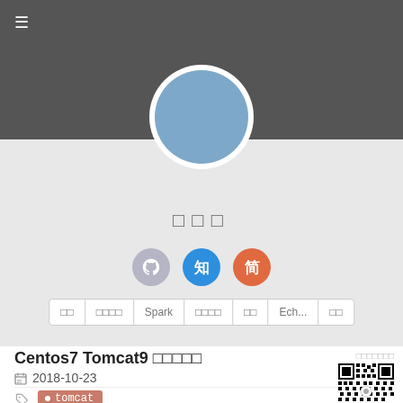[Figure (photo): User profile avatar: blue circle on dark gray banner background]
□□□
[Figure (illustration): Three social media icon circles: GitHub (gray), Zhihu (blue, 知), Jianshu (orange, 简)]
□□  □□□□  Spark  □□□□  □□  Ech...  □□
Centos7 Tomcat9 □□□□□
2018-10-23
□□□□□□□
• tomcat
[Figure (other): QR code image]